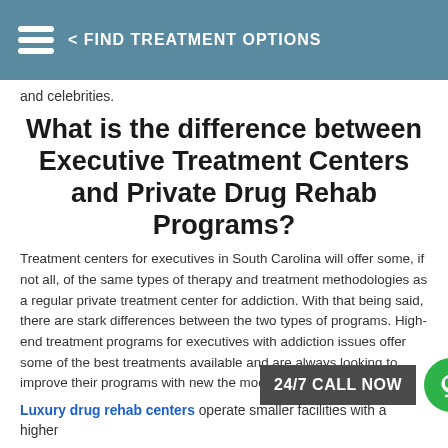< FIND TREATMENT OPTIONS
and celebrities.
What is the difference between Executive Treatment Centers and Private Drug Rehab Programs?
Treatment centers for executives in South Carolina will offer some, if not all, of the same types of therapy and treatment methodologies as a regular private treatment center for addiction. With that being said, there are stark differences between the two types of programs. High-end treatment programs for executives with addiction issues offer some of the best treatments available and are always looking to improve their programs with new the models and medicines.
Luxury drug rehab centers operate smaller facilities with a higher